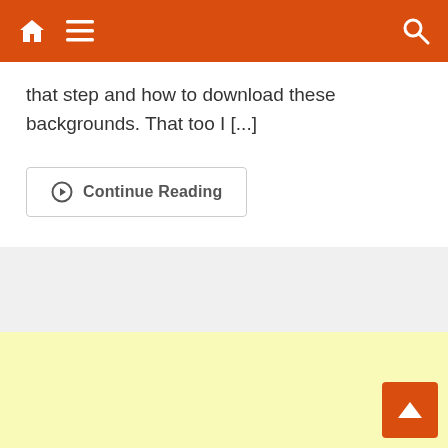Navigation bar with home, menu and search icons
that step and how to download these backgrounds. That too I [...]
Continue Reading
[Figure (other): Light yellow advertisement block placeholder]